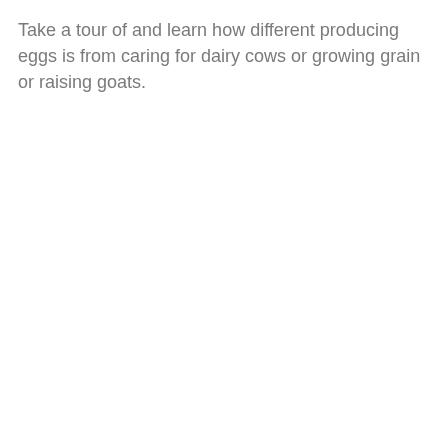Take a tour of and learn how different producing eggs is from caring for dairy cows or growing grain or raising goats.